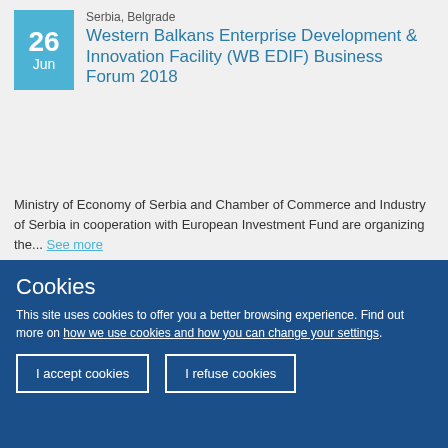Serbia, Belgrade
Western Balkans Enterprise Development & Innovation Facility (WB EDIF) Business Forum 2018
Ministry of Economy of Serbia and Chamber of Commerce and Industry of Serbia in cooperation with European Investment Fund are organizing the... See more
Serbia, Zlatibor
Cookies
This site uses cookies to offer you a better browsing experience. Find out more on how we use cookies and how you can change your settings.
I accept cookies
I refuse cookies